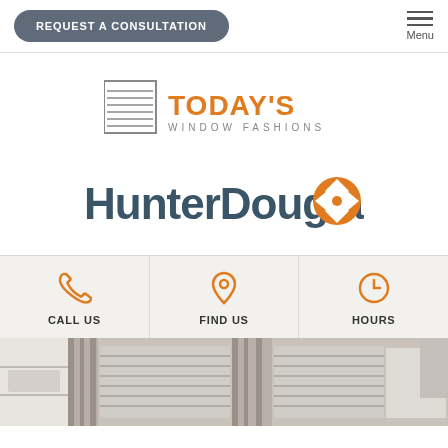REQUEST A CONSULTATION | Menu
[Figure (logo): Today's Window Fashions logo with blind icon and orange/gray text]
[Figure (logo): HunterDouglas logo with orange compass/cross icon and dark teal text]
[Figure (infographic): Three action buttons: CALL US (phone icon), FIND US (map pin icon), HOURS (clock icon) on light gray background]
[Figure (photo): Room interior with window blinds/shades and patterned curtains, white shelving unit visible]